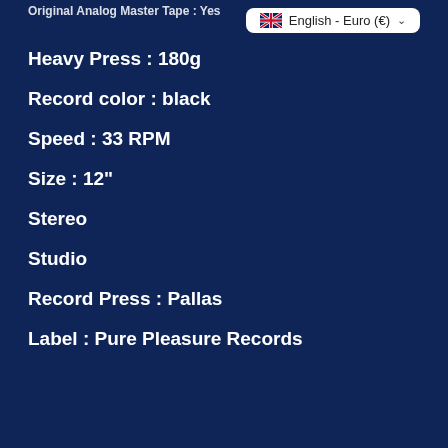Original Analog Master Tape : Yes
[Figure (other): Language/currency selector button showing UK flag and text 'English - Euro (€)' with dropdown chevron]
Heavy Press : 180g
Record color : black
Speed : 33 RPM
Size : 12"
Stereo
Studio
Record Press : Pallas
Label : Pure Pleasure Records